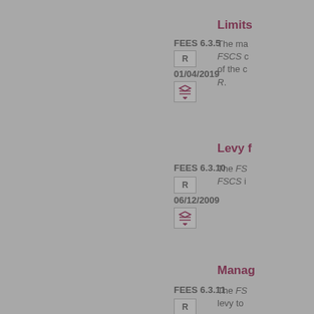Limits
FEES 6.3.5
R
01/04/2019
The ma... FSCS c... of the c... R.
Levy f
FEES 6.3.10
R
06/12/2009
The FSC... FSCS i...
Manag
FEES 6.3.11
R
The FSC... levy to...